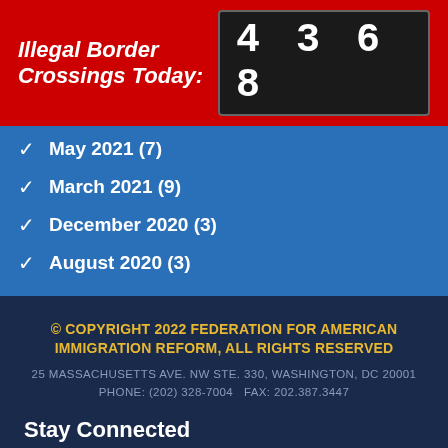Illegal Border Crossings Today: 4368
May 2021 (7)
March 2021 (9)
December 2020 (3)
August 2020 (3)
© COPYRIGHT 2022 FEDERATION FOR AMERICAN IMMIGRATION REFORM, ALL RIGHTS RESERVED
25 MASSACHUSETTS AVE. NW STE. 330, WASHINGTON, DC 20001
PHONE: (202) 328-7004   FAX: 202.387.3447
Stay Connected
HOME   PRIVACY POLICY   CONTACT US